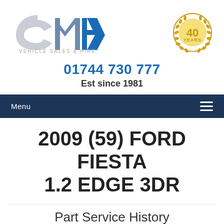[Figure (logo): CMH Vehicle Sales & Hire logo with stylized C, M, H letters and blue arrow, plus 40 Years badge in gold]
01744 730 777
Est since 1981
Menu
2009 (59) FORD FIESTA 1.2 EDGE 3DR
Part Service History